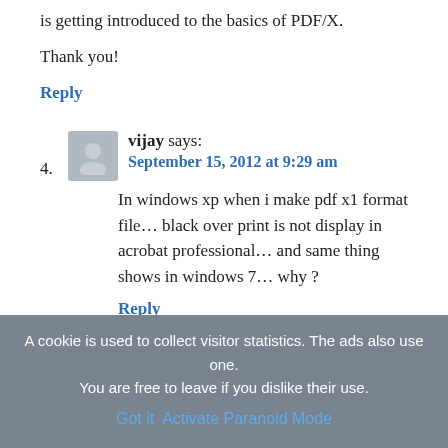is getting introduced to the basics of PDF/X.
Thank you!
Reply
4. vijay says: September 15, 2012 at 9:29 am — In windows xp when i make pdf x1 format file... black over print is not display in acrobat professional... and same thing shows in windows 7... why ?
Reply
5. Les says: May 18, 2012 at 3:46 pm
A cookie is used to collect visitor statistics. The ads also use one. You are free to leave if you dislike their use. Got it  Activate Paranoid Mode